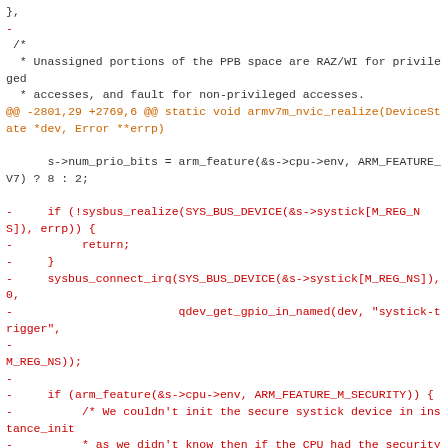Code diff showing changes to armv7m_nvic_realize function, including removal of sysbus_realize and sysbus_connect_irq calls for systick device, and removal of ARM_FEATURE_M_SECURITY block initialization.